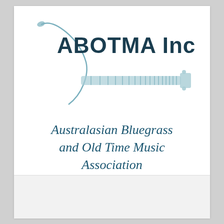[Figure (logo): ABOTMA Inc logo with banjo/guitar neck graphic and bold text 'ABOTMA Inc']
Australasian Bluegrass and Old Time Music Association
Proudly powered by WordPress